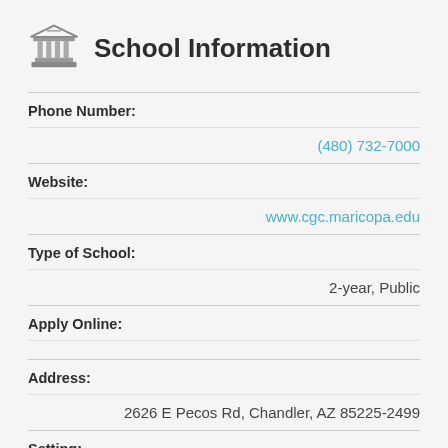School Information
Phone Number:
(480) 732-7000
Website:
www.cgc.maricopa.edu
Type of School:
2-year,  Public
Apply Online:
Address:
2626 E Pecos Rd, Chandler, AZ 85225-2499
Setting:
City: Large
Campus Housing:
Yes